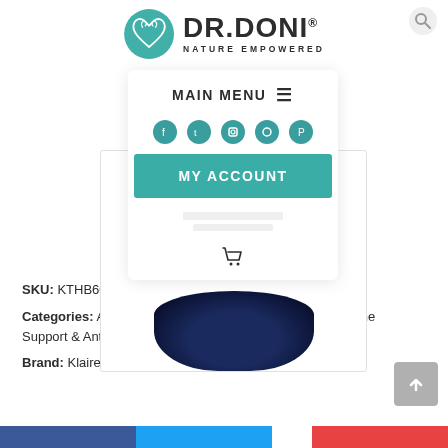[Figure (logo): Dr. Doni Nature Empowered logo with teal circle containing a heart/plant design and bold text DR.DONI NATURE EMPOWERED]
[Figure (screenshot): Mobile website navigation overlay showing MAIN MENU with hamburger icon, 5 teal social media icons, MY ACCOUNT teal button, and a shopping cart icon]
[Figure (photo): Product bottle with dark navy/black base visible at bottom of product image container with white border]
SKU: KTHB60
Categories: All Products, Capsule or Gel, Digestion, Immune Support & Anti-Microbial, Probiotics
Brand: Klaire Labs